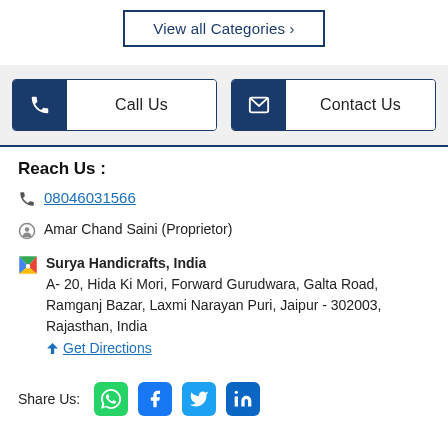View all Categories ›
Call Us
Contact Us
Reach Us :
08046031566
Amar Chand Saini (Proprietor)
Surya Handicrafts, India
A- 20, Hida Ki Mori, Forward Gurudwara, Galta Road, Ramganj Bazar, Laxmi Narayan Puri, Jaipur - 302003, Rajasthan, India
Get Directions
Share Us: